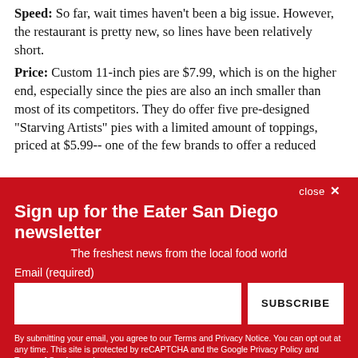Speed: So far, wait times haven't been a big issue. However, the restaurant is pretty new, so lines have been relatively short.
Price: Custom 11-inch pies are $7.99, which is on the higher end, especially since the pies are also an inch smaller than most of its competitors. They do offer five pre-designed "Starving Artists" pies with a limited amount of toppings, priced at $5.99-- one of the few brands to offer a reduced
close ×
Sign up for the Eater San Diego newsletter
The freshest news from the local food world
Email (required)
SUBSCRIBE
By submitting your email, you agree to our Terms and Privacy Notice. You can opt out at any time. This site is protected by reCAPTCHA and the Google Privacy Policy and Terms of Service apply.